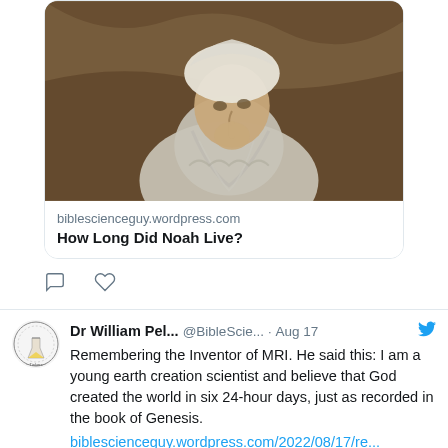[Figure (illustration): Painting of an elderly bearded man with white head covering, hand raised to chin in contemplative pose, brown/sepia tones]
biblescienceguy.wordpress.com
How Long Did Noah Live?
[Figure (other): Tweet action icons: comment bubble and heart]
[Figure (logo): Dr William Pel... avatar - circular logo with science and Bible imagery]
Dr William Pel... @BibleScie... · Aug 17 Remembering the Inventor of MRI. He said this: I am a young earth creation scientist and believe that God created the world in six 24-hour days, just as recorded in the book of Genesis. biblescienceguy.wordpress.com/2022/08/17/re...